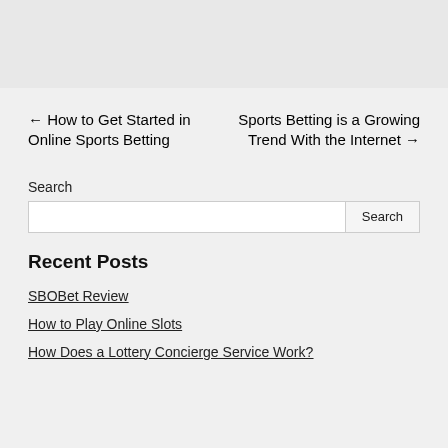← How to Get Started in Online Sports Betting
Sports Betting is a Growing Trend With the Internet →
Search
Recent Posts
SBOBet Review
How to Play Online Slots
How Does a Lottery Concierge Service Work?